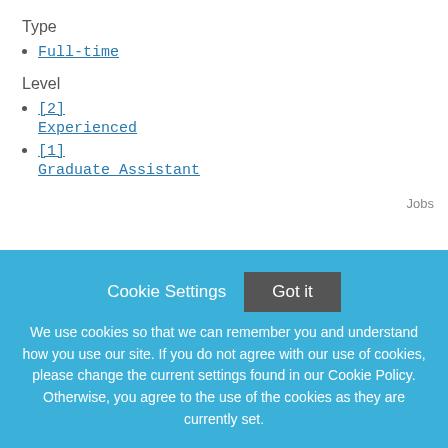Type
Full-time
Level
[2] Experienced
[1] Graduate Assistant
Jobs
500 Coaching Jobs in
Sort By Newest
Cookie Settings  Got it
We use cookies so that we can remember you and understand how you use our site. If you do not agree with our use of cookies, please change the current settings found in our Cookie Policy. Otherwise, you agree to the use of the cookies as they are currently set.